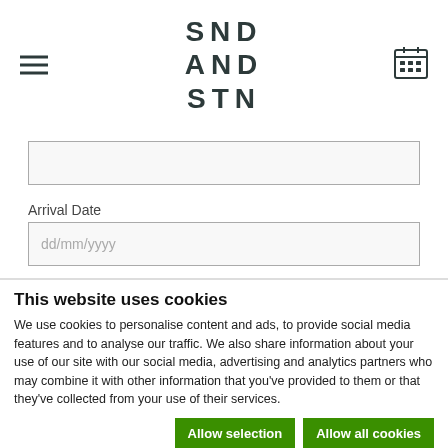SND AND STN
[Figure (screenshot): Search input field (empty)]
Arrival Date
[Figure (screenshot): Date input field with placeholder dd/mm/yyyy]
This website uses cookies
We use cookies to personalise content and ads, to provide social media features and to analyse our traffic. We also share information about your use of our site with our social media, advertising and analytics partners who may combine it with other information that you've provided to them or that they've collected from your use of their services.
Allow selection | Allow all cookies
Necessary  Preferences  Statistics  Marketing  Show details